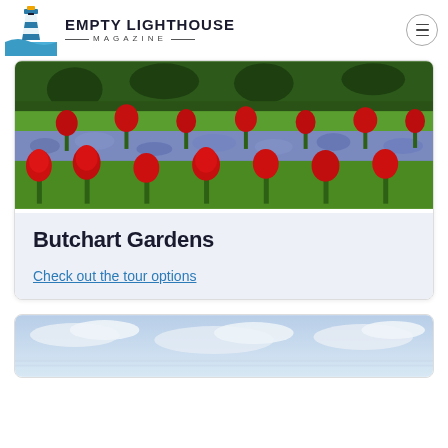EMPTY LIGHTHOUSE MAGAZINE
[Figure (photo): Garden photo showing red tulips and blue/purple flowers in a formal garden with green hedges and topiary]
Butchart Gardens
Check out the tour options
[Figure (photo): Partial view of a sky with clouds, bottom of second card]